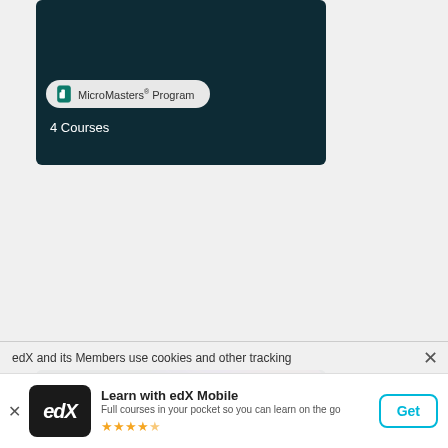[Figure (screenshot): Dark teal card showing MicroMasters Program badge and '4 Courses' text]
[Figure (screenshot): NYU Integrated Digital Media MicroMasters card with colorful wave pattern background and NYU logo]
edX and its Members use cookies and other tracking
[Figure (screenshot): edX mobile app promotional banner with edX logo, 'Learn with edX Mobile' text, 4.5 star rating, and Get button]